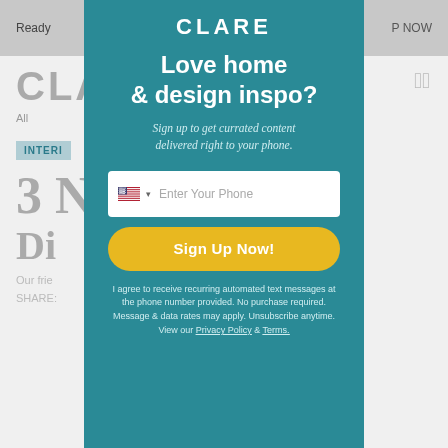[Figure (screenshot): Background website page showing Clare brand, navigation, and partially visible article content underneath a modal overlay]
CLARE
Love home & design inspo?
Sign up to get currated content delivered right to your phone.
Enter Your Phone
Sign Up Now!
I agree to receive recurring automated text messages at the phone number provided. No purchase required. Message & data rates may apply. Unsubscribe anytime. View our Privacy Policy & Terms.